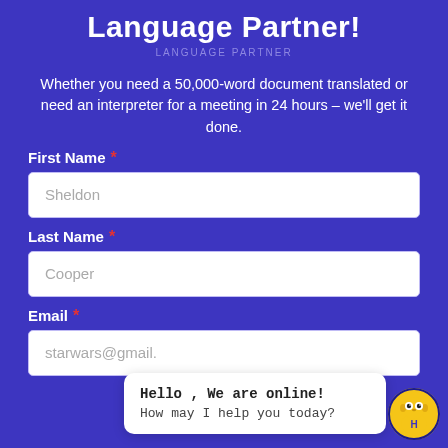Language Partner!
Whether you need a 50,000-word document translated or need an interpreter for a meeting in 24 hours – we'll get it done.
First Name *
Sheldon
Last Name *
Cooper
Email *
starwars@gmail.
Hello , We are online! How may I help you today?